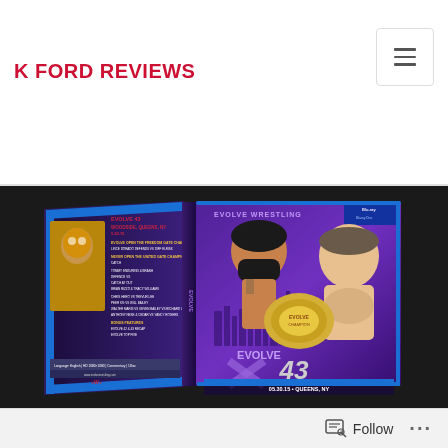K FORD REVIEWS
[Figure (photo): Blu-ray case for EVOLVE 43 wrestling event, Queens, NY, 05.30.15. Front cover shows two wrestlers facing off with EVOLVE logo. Back cover lists match card details.]
Follow ...